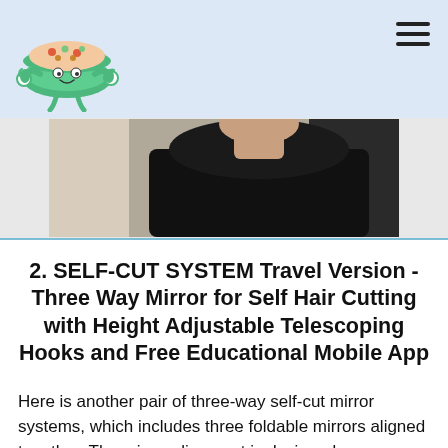[Figure (photo): Cartoon mascot logo: a smiling green bowl character with arms and legs, full of colorful food, on a light blue background. Hamburger menu icon (three horizontal lines) in top right.]
[Figure (photo): Partial photo of a person wearing a black top, visible from shoulders/neck area, with a mirror or door in the background.]
2. SELF-CUT SYSTEM Travel Version - Three Way Mirror for Self Hair Cutting with Height Adjustable Telescoping Hooks and Free Educational Mobile App
Here is another pair of three-way self-cut mirror systems, which includes three foldable mirrors aligned together. The mirror alignment is designed